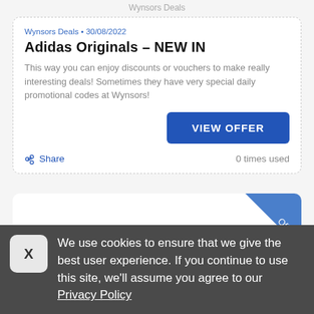Wynsors Deals
Wynsors Deals • 30/08/2022
Adidas Originals – NEW IN
This way you can enjoy discounts or vouchers to make really interesting deals! Sometimes they have very special daily promotional codes at Wynsors!
VIEW OFFER
Share
0 times used
[Figure (other): Partial card with a blue diagonal ribbon badge labeled 'Offer']
We use cookies to ensure that we give the best user experience. If you continue to use this site, we'll assume you agree to our Privacy Policy